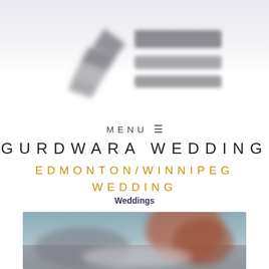[Figure (photo): Blurred website header logo with camera/photography imagery and horizontal bar elements on a grey gradient background]
MENU ≡
GURDWARA WEDDING
EDMONTON/WINNIPEG WEDDING
Weddings
[Figure (photo): Blurred wedding photograph showing hands, with muted blue/grey and warm brown tones]